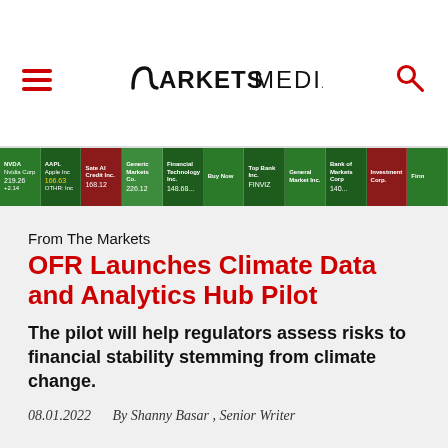MARKETS MEDIA
[Figure (screenshot): Stock market ticker/heatmap strip showing various stocks with green and red colored cells indicating price movements]
From The Markets
OFR Launches Climate Data and Analytics Hub Pilot
The pilot will help regulators assess risks to financial stability stemming from climate change.
08.01.2022   By Shanny Basar , Senior Writer